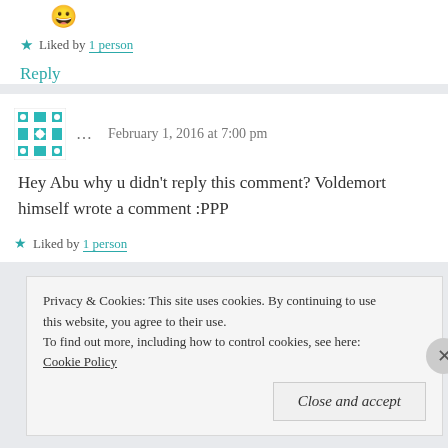😀
★ Liked by 1 person
Reply
… February 1, 2016 at 7:00 pm
Hey Abu why u didn't reply this comment? Voldemort himself wrote a comment :PPP
★ Liked by 1 person
Privacy & Cookies: This site uses cookies. By continuing to use this website, you agree to their use.
To find out more, including how to control cookies, see here: Cookie Policy
Close and accept